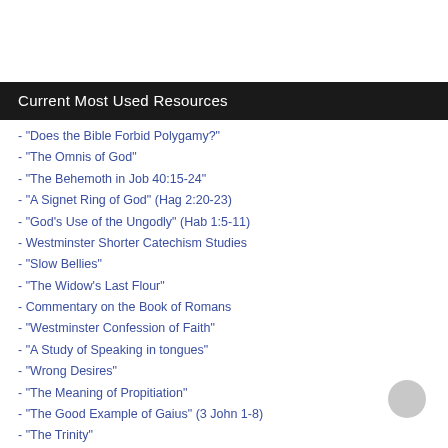Current Most Used Resources
- "Does the Bible Forbid Polygamy?"
- "The Omnis of God"
- "The Behemoth in Job 40:15-24"
- "A Signet Ring of God" (Hag 2:20-23)
- "God's Use of the Ungodly" (Hab 1:5-11)
- Westminster Shorter Catechism Studies
- "Slow Bellies"
- "The Widow's Last Flour"
- Commentary on the Book of Romans
- "Westminster Confession of Faith"
- "A Study of Speaking in tongues"
- "Wrong Desires"
- "The Meaning of Propitiation"
- "The Good Example of Gaius" (3 John 1-8)
- "The Trinity"
- "What Does the Bible Mainly Teach Us?"